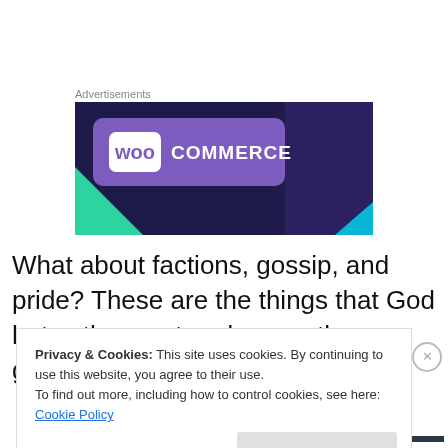Advertisements
[Figure (logo): WooCommerce advertisement banner with purple background, WOO logo box and COMMERCE text, green triangle in bottom-left corner, dark purple right section with cyan corner accent]
What about factions, gossip, and pride? These are the things that God hates the most and cause the greatest
Privacy & Cookies: This site uses cookies. By continuing to use this website, you agree to their use.
To find out more, including how to control cookies, see here: Cookie Policy